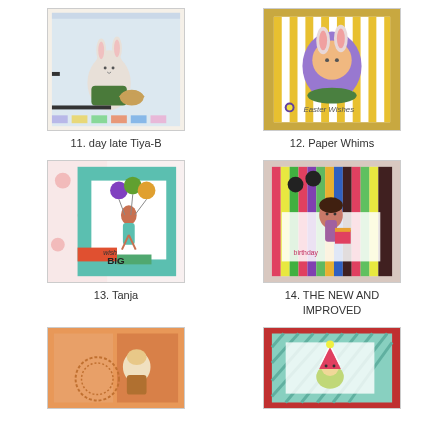[Figure (photo): Handmade card featuring a white bunny holding a basket, light blue background with pastel stripes]
11. day late Tiya-B
[Figure (photo): Handmade Easter card with yellow stripes, bunny peeking over colorful egg, text reads 'Easter Wishes']
12. Paper Whims
[Figure (photo): Handmade birthday card with girl holding colorful balloons, teal stripes, text reads 'wish BIG']
13. Tanja
[Figure (photo): Handmade birthday card with colorful vertical stripes and a figure in the center]
14. THE NEW AND IMPROVED
[Figure (photo): Handmade card with peach/orange background and lace doily design, partially shown]
[Figure (photo): Handmade card with red border, teal diagonal stripes, and a party hat character, partially shown]